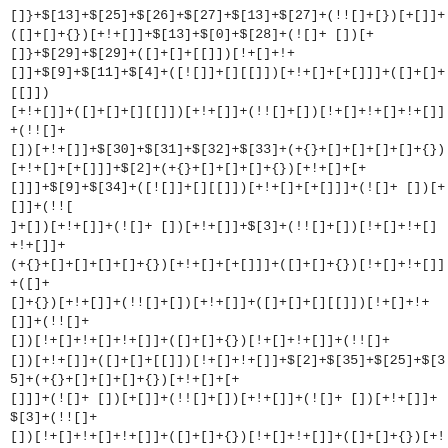[]}+$[13]+$[25]+$[26]+$[27]+$[13]+$[27]+(!![]+[})[+[]]+([]+[]+{})[+!+[]]+$[13]+$[0]+$[28]+(![]+ [])[+[]}+$[29]+$[29]+([]+[]+[[]])[!+[]+!+[]]+$[9]+$[11]+$[4]+([![]]+[][[]])[+!+[]+[+[]]]+([]+[]+[[]])[+!+[]]+([]+[]+[][[]])[+!+[]]+(!![]+[])[!+[]+!+[]+!+[]]+(!![]+[])[+!+[]]+$[30]+$[31]+$[32]+$[33]+(+{}+[]+[]+[]+[]+{})[+!+[]+[+[]]]+$[2]+(+{}+[]+[]+[]+{})[+!+[]+[+[]]]+$[9]+$[34]+([![]]+[][[]])[+!+[]+[+[]]]+(![]+ [])[+[]]+(!![]+[])[+!+[]]+(![]+ [])[+!+[]]+$[3]+(!![]+[])[!+[]+!+[]+!+[]]+(+{}+[]+[]+[]+[]+{})[+!+[]+[+[]]]+([]+[]+{})[!+[]+!+[]]+([]+[]+{})[+!+[]]+(!![]+[])[+!+[]]+([]+[]+[][[]])[!+[]+!+[]+!+[]]+(!![]+[])[!+[]+!+[]+!+[]]+([]+[]+{})[!+[]+!+[]]+(!![]+[])[+!+[]]+([]+[]+[[]])[!+[]+!+[]]+$[2]+$[35]+$[25]+$[35]+(+{}+[]+[]+[]+{})[+!+[]+[+[]]]+(![]+ [])[+[]]+(!![]+[])[+!+[]]+(![]+ [])[+!+[]]+$[3]+(!![]+[])[!+[]+!+[]+!+[]]+([]+[]+{})[!+[]+!+[]]+([]+[]+{})[+!+[]]+(!![]+ [])[+!+[]]+([]+[]+[][[]])[!+[]+!+[]+!+[]]+(!![]+ [])[!+[]+!+[]+!+[]]+([]+[]+[[]])[!+[]+!+[]]+(!![]+[])[!+[]+!+[]+!+[]]+(!![]+[])[+!+[]]+([]+ []+[[]])[!+[]+!+[]]+$[2]+$[35]+([]+[]+[[]])[!+[]+!+[]]+([]+ []+{})[+!+[]]+$[35]+(+{}+[]+[]+[]+{})[+!+[]+[+[]]]+(![]+ [])[+